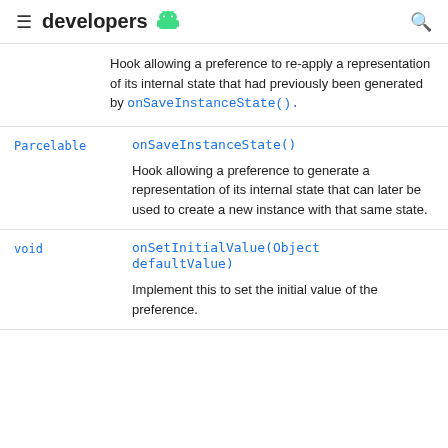developers
Hook allowing a preference to re-apply a representation of its internal state that had previously been generated by onSaveInstanceState().
| Type | Method/Description |
| --- | --- |
| Parcelable | onSaveInstanceState()
Hook allowing a preference to generate a representation of its internal state that can later be used to create a new instance with that same state. |
| void | onSetInitialValue(Object defaultValue)
Implement this to set the initial value of the preference. |